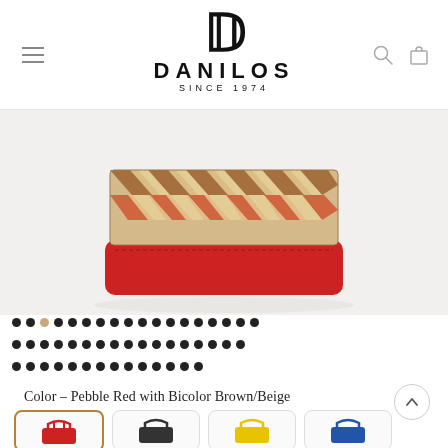[Figure (logo): Danilos brand logo with large D letter, DANILOS text, and SINCE 1974 subtitle]
[Figure (photo): Close-up bottom view of a woven basket bag with red leather base, showing diagonal brown/beige weave pattern on white background]
[Figure (other): Pagination dots: two full rows and one partial row of dark dots with one tan/beige active dot in first row]
Color – Pebble Red with Bicolor Brown/Beige
[Figure (photo): Row of four color variant thumbnail images of the bag: red, dark/black, yellow, and blue]